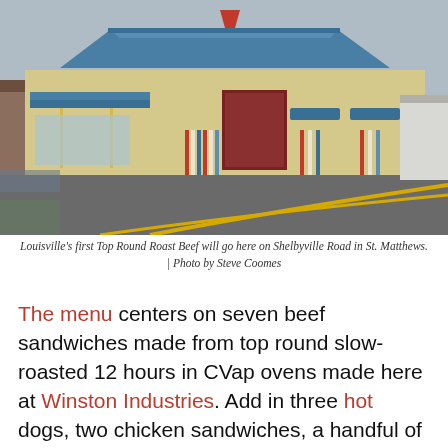[Figure (photo): Exterior photo of a restaurant building with blue metal roof, beige/yellow walls with colorful vertical stripes, blue awnings, and a parking lot with yellow lines in the foreground. A drive-through canopy is visible on the left side.]
Louisville's first Top Round Roast Beef will go here on Shelbyville Road in St. Matthews. | Photo by Steve Coomes
The menu centers on seven beef sandwiches made from top round slow-roasted 12 hours in CVap ovens made here at Winston Industries. Add in three hot dogs, two chicken sandwiches, a handful of salads and sides, shakes and frozen custard, and you get the